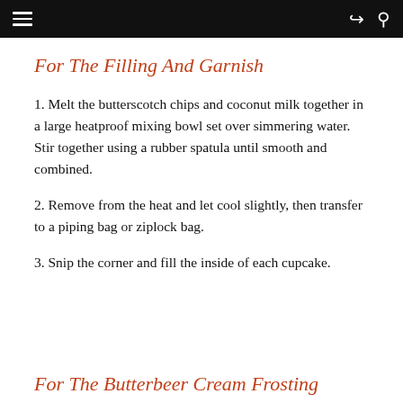For The Filling And Garnish
1. Melt the butterscotch chips and coconut milk together in a large heatproof mixing bowl set over simmering water. Stir together using a rubber spatula until smooth and combined.
2. Remove from the heat and let cool slightly, then transfer to a piping bag or ziplock bag.
3. Snip the corner and fill the inside of each cupcake.
For The Butterbeer Cream Frosting